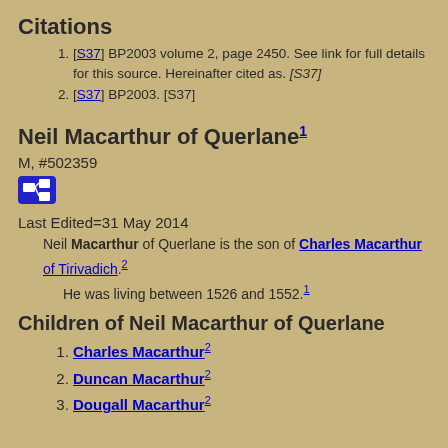Citations
[S37] BP2003 volume 2, page 2450. See link for full details for this source. Hereinafter cited as. [S37]
[S37] BP2003. [S37]
Neil Macarthur of Querlane
M, #502359
Last Edited=31 May 2014
Neil Macarthur of Querlane is the son of Charles Macarthur of Tirivadich. He was living between 1526 and 1552.
Children of Neil Macarthur of Querlane
Charles Macarthur
Duncan Macarthur
Dougall Macarthur